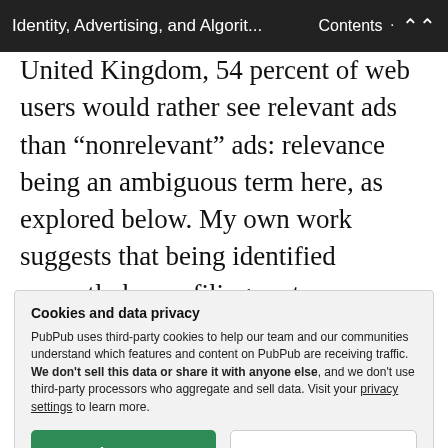Identity, Advertising, and Algorit... Contents
United Kingdom, 54 percent of web users would rather see relevant ads than “nonrelevant” ads: relevance being an ambiguous term here, as explored below. My own work suggests that being identified correctly by profiling systems can bring a sense of legitimacy and
Cookies and data privacy
PubPub uses third-party cookies to help our team and our communities understand which features and content on PubPub are receiving traffic. We don't sell this data or share it with anyone else, and we don't use third-party processors who aggregate and sell data. Visit your privacy settings to learn more.
Google Ad Preferences profile to be